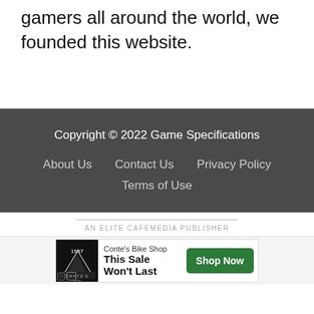gamers all around the world, we founded this website.
Copyright © 2022 Game Specifications
About Us   Contact Us   Privacy Policy
Terms of Use
AN ELITE CAFEMEDIA PUBLISHER
[Figure (other): Advertisement banner for Conte's Bike Shop with text 'This Sale Won't Last' and a green 'Shop Now' button]